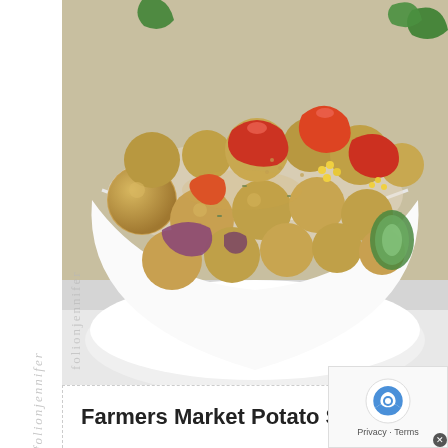[Figure (photo): A white bowl filled with small golden potatoes (baby potatoes), roasted red tomatoes, red onion, cucumber slices, corn kernels, and fresh basil leaves forming a colorful farmers market potato salad.]
Farmers Market Potato Salad